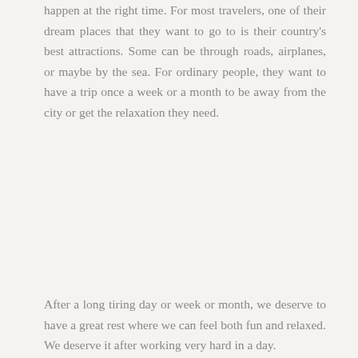happen at the right time. For most travelers, one of their dream places that they want to go to is their country's best attractions. Some can be through roads, airplanes, or maybe by the sea. For ordinary people, they want to have a trip once a week or a month to be away from the city or get the relaxation they need.
After a long tiring day or week or month, we deserve to have a great rest where we can feel both fun and relaxed. We deserve it after working very hard in a day.